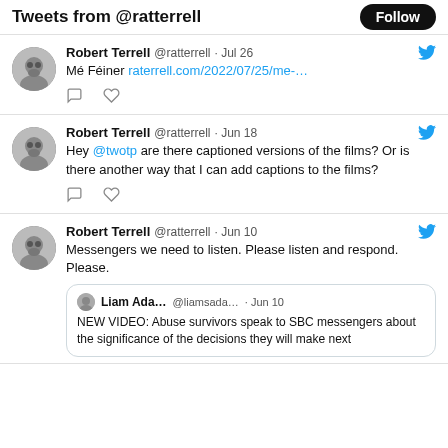Tweets from @ratterrell
Robert Terrell @ratterrell · Jul 26
Mé Féiner raterrell.com/2022/07/25/me-…
Robert Terrell @ratterrell · Jun 18
Hey @twotp are there captioned versions of the films? Or is there another way that I can add captions to the films?
Robert Terrell @ratterrell · Jun 10
Messengers we need to listen. Please listen and respond. Please.
[Quoted: Liam Ada... @liamsada... · Jun 10
NEW VIDEO: Abuse survivors speak to SBC messengers about the significance of the decisions they will make next]